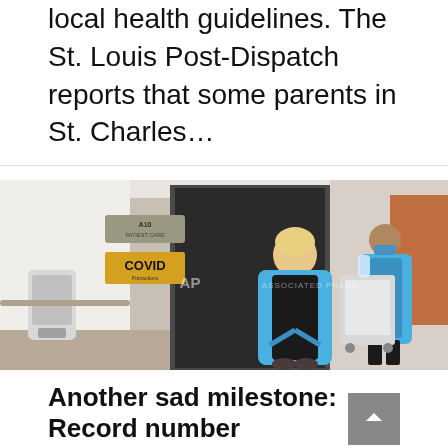local health guidelines. The St. Louis Post-Dispatch reports that some parents in St. Charles…
[Figure (photo): AP Associated Press photo of a hospital COVID patient care unit hallway. A healthcare worker in blue PPE gown and mask stands at a door marked 'COVID'. Another worker in blue PPE walks in the background. A hand sanitizer dispenser is visible on the left wall. Sign reads 'A10 PATIENT CARE'.]
Another sad milestone: Record number